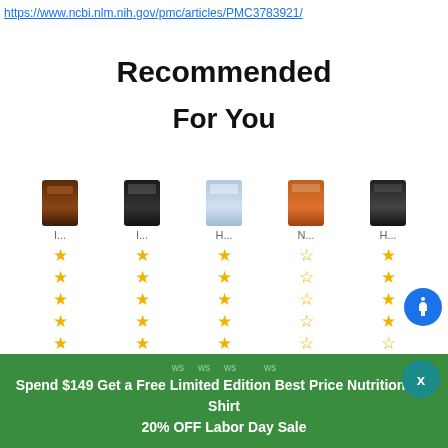https://www.ncbi.nlm.nih.gov/pmc/articles/PMC3783921/
Recommended
For You
[Figure (screenshot): Product recommendation widget showing 5 supplement products with star ratings, review counts, and prices. Products labeled I..., I..., H..., N..., H... with star ratings (5 stars, 5 stars, 5 stars, 0 stars, 4.5 stars approximately). Review counts: 6, 16, 9, $9.9, 23. Review labels: re, re, re, .9, re. Partially visible rows below show vie, vie, vie, 9, vie and ws, ws, ws, ws and $3x, $4x, $0x, $3x and 9, 9, 7, 9.]
Spend $149 Get a Free Limited Edition Best Price Nutrition Tee Shirt
20% OFF Labor Day Sale